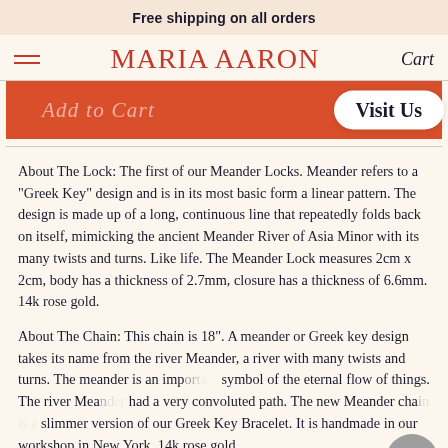Free shipping on all orders
MARIA AARON
[Figure (screenshot): Add to Cart button area in orange/red with Visit Us pill button overlay]
About The Lock: The first of our Meander Locks. Meander refers to a "Greek Key" design and is in its most basic form a linear pattern. The design is made up of a long, continuous line that repeatedly folds back on itself, mimicking the ancient Meander River of Asia Minor with its many twists and turns. Like life. The Meander Lock measures 2cm x 2cm, body has a thickness of 2.7mm, closure has a thickness of 6.6mm. 14k rose gold.
About The Chain: This chain is 18". A meander or Greek key design takes its name from the river Meander, a river with many twists and turns. The meander is an important symbol of the eternal flow of things. The river Meander had a very convoluted path. The new Meander chain is a slimmer version of our Greek Key Bracelet. It is handmade in our workshop in New York. 14k rose gold